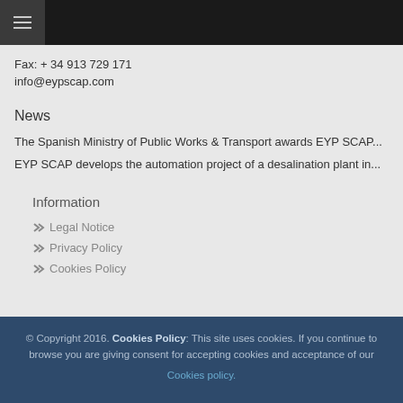☰ (menu icon) navigation bar
Fax: + 34 913 729 171
info@eypscap.com
News
The Spanish Ministry of Public Works & Transport awards EYP SCAP...
EYP SCAP develops the automation project of a desalination plant in...
Information
Legal Notice
Privacy Policy
Cookies Policy
© Copyright 2016. Cookies Policy: This site uses cookies. If you continue to browse you are giving consent for accepting cookies and acceptance of our Cookies policy.